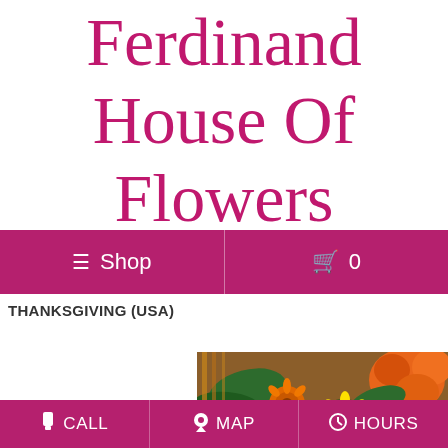Ferdinand House Of Flowers
≡ Shop   🛒 0
THANKSGIVING (USA)
[Figure (photo): Orange roses, sunflowers, and fall flower arrangement close-up photo]
📱 CALL   📍 MAP   🕐 HOURS